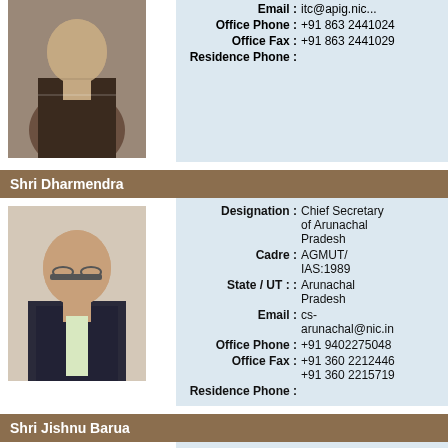[Figure (photo): Portrait photo of an official (partially visible at top)]
Office Phone : +91 863 2441024
Office Fax : +91 863 2441029
Residence Phone :
Shri Dharmendra
[Figure (photo): Portrait photo of Shri Dharmendra]
Designation : Chief Secretary of Arunachal Pradesh
Cadre : AGMUT/IAS:1989
State / UT : : Arunachal Pradesh
Email : cs-arunachal@nic.in
Office Phone : +91 9402275048
Office Fax : +91 360 2212446
+91 360 2215719
Residence Phone :
Shri Jishnu Barua
[Figure (photo): Portrait photo of Shri Jishnu Barua (partially visible)]
Designation : Chief Secretary of Assam
Cadre : AM/IAS:1998